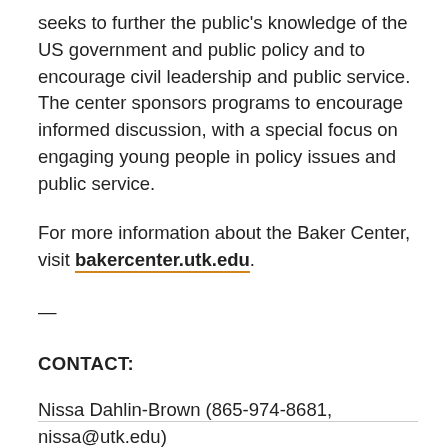seeks to further the public's knowledge of the US government and public policy and to encourage civil leadership and public service. The center sponsors programs to encourage informed discussion, with a special focus on engaging young people in policy issues and public service.
For more information about the Baker Center, visit bakercenter.utk.edu.
—
CONTACT:
Nissa Dahlin-Brown (865-974-8681, nissa@utk.edu)